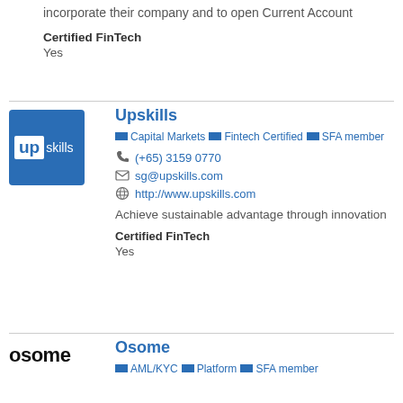incorporate their company and to open Current Account
Certified FinTech
Yes
Upskills
Capital Markets   Fintech Certified   SFA member
(+65) 3159 0770
sg@upskills.com
http://www.upskills.com
Achieve sustainable advantage through innovation
Certified FinTech
Yes
Osome
AML/KYC   Platform   SFA member